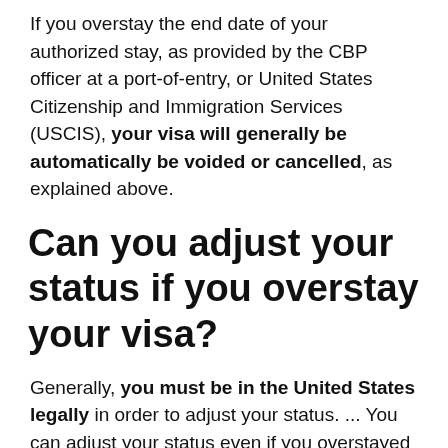If you overstay the end date of your authorized stay, as provided by the CBP officer at a port-of-entry, or United States Citizenship and Immigration Services (USCIS), your visa will generally be automatically be voided or cancelled, as explained above.
Can you adjust your status if you overstay your visa?
Generally, you must be in the United States legally in order to adjust your status. ... You can adjust your status even if you overstayed your visa – as long as you originally entered the U.S. with a valid visa